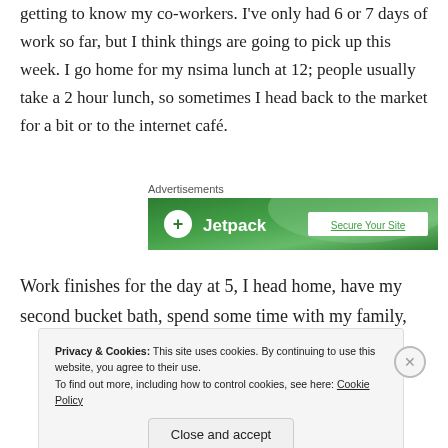getting to know my co-workers. I've only had 6 or 7 days of work so far, but I think things are going to pick up this week. I go home for my nsima lunch at 12; people usually take a 2 hour lunch, so sometimes I head back to the market for a bit or to the internet café.
[Figure (screenshot): Jetpack advertisement banner with green background showing logo and 'Secure Your Site' text]
Work finishes for the day at 5, I head home, have my second bucket bath, spend some time with my family,
Privacy & Cookies: This site uses cookies. By continuing to use this website, you agree to their use.
To find out more, including how to control cookies, see here: Cookie Policy

Close and accept